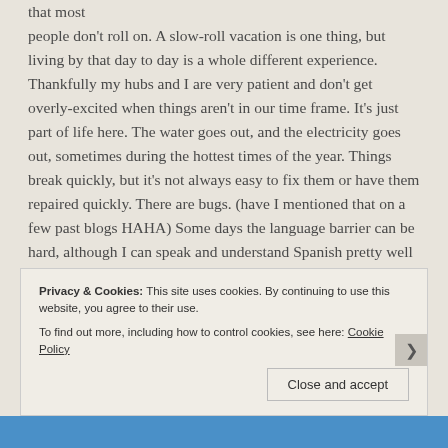that most people don't roll on. A slow-roll vacation is one thing, but living by that day to day is a whole different experience. Thankfully my hubs and I are very patient and don't get overly-excited when things aren't in our time frame. It's just part of life here. The water goes out, and the electricity goes out, sometimes during the hottest times of the year. Things break quickly, but it's not always easy to fix them or have them repaired quickly. There are bugs. (have I mentioned that on a few past blogs HAHA) Some days the language barrier can be hard, although I can speak and understand Spanish pretty well (and am still learning and taking classes) there are times that it's rough. Living on the beach, things rust and just quit working that you wouldn't suspect. Phones and computers die quickly
Privacy & Cookies: This site uses cookies. By continuing to use this website, you agree to their use.
To find out more, including how to control cookies, see here: Cookie Policy